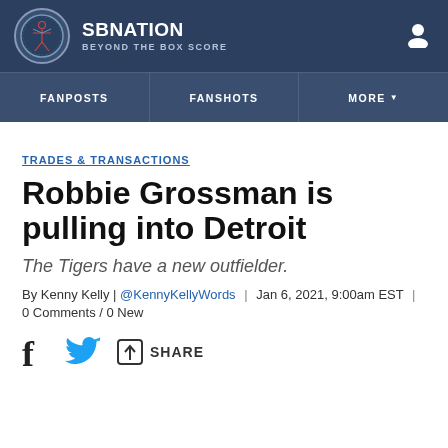SB NATION | BEYOND THE BOX SCORE
FANPOSTS | FANSHOTS | MORE
TRADES & TRANSACTIONS
Robbie Grossman is pulling into Detroit
The Tigers have a new outfielder.
By Kenny Kelly | @KennyKellyWords | Jan 6, 2021, 9:00am EST | 0 Comments / 0 New